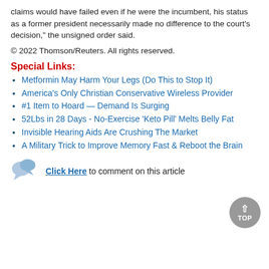claims would have failed even if he were the incumbent, his status as a former president necessarily made no difference to the court's decision," the unsigned order said.
© 2022 Thomson/Reuters. All rights reserved.
Special Links:
Metformin May Harm Your Legs (Do This to Stop It)
America's Only Christian Conservative Wireless Provider
#1 Item to Hoard — Demand Is Surging
52Lbs in 28 Days - No-Exercise 'Keto Pill' Melts Belly Fat
Invisible Hearing Aids Are Crushing The Market
A Military Trick to Improve Memory Fast & Reboot the Brain
Click Here to comment on this article